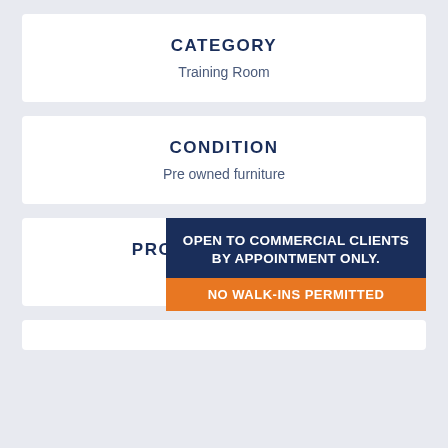CATEGORY
Training Room
CONDITION
Pre owned furniture
PRODUCT NUMBER
P-86...
OPEN TO COMMERCIAL CLIENTS BY APPOINTMENT ONLY. NO WALK-INS PERMITTED